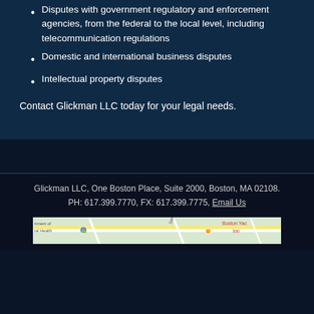Disputes with government regulatory and enforcement agencies, from the federal to the local level, including telecommunication regulations
Domestic and international business disputes
Intellectual property disputes
Contact Glickman LLC today for your legal needs.
Glickman LLC, One Boston Place, Suite 2000, Boston, MA 02108. PH: 617.399.7770, FX: 617.399.7775, Email Us
[Figure (map): Google Maps embed showing area near One Boston Place, Boston MA, with markers for Department of Mental Health and Boston Yacht Inn visible]